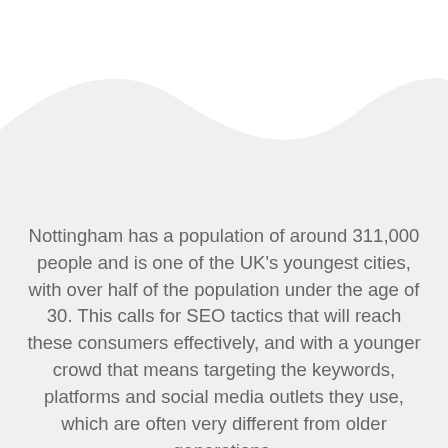[Figure (illustration): Decorative wave shape: white background on top transitioning into a light grey area below, with a wavy curved boundary between the two sections.]
Nottingham has a population of around 311,000 people and is one of the UK's youngest cities, with over half of the population under the age of 30. This calls for SEO tactics that will reach these consumers effectively, and with a younger crowd that means targeting the keywords, platforms and social media outlets they use, which are often very different from older generations.